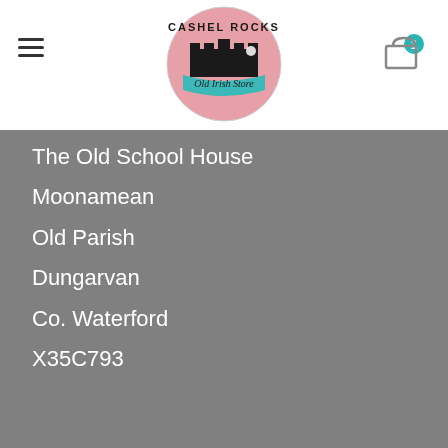[Figure (logo): Cashel Rocks Old Irish Store circular logo with pink background and teal banner]
The Old School House
Moonamean
Old Parish
Dungarvan
Co. Waterford
X35C793
[Figure (logo): Payment icons: VISA, Mastercard, generic credit card, PayPal]
TERMS AND CONDITIONS   PRIVACY POLICY   DELIVERY   RETURNS
Copyright 2022 © - Designed By Time for Designs